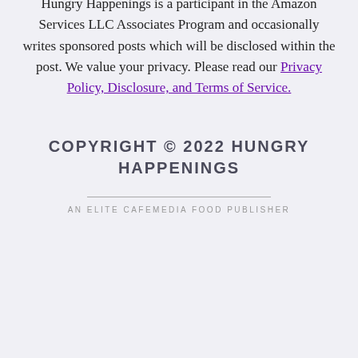Hungry Happenings is a participant in the Amazon Services LLC Associates Program and occasionally writes sponsored posts which will be disclosed within the post. We value your privacy. Please read our Privacy Policy, Disclosure, and Terms of Service.
COPYRIGHT © 2022 HUNGRY HAPPENINGS
AN ELITE CAFEMEDIA FOOD PUBLISHER